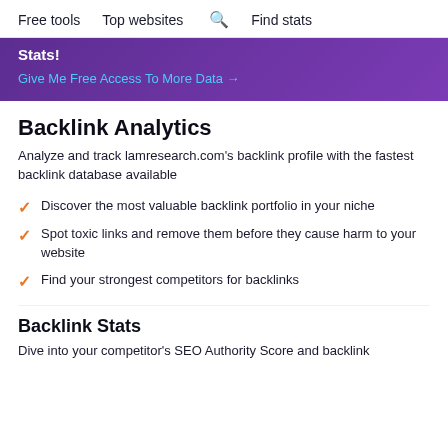Free tools   Top websites   🔍 Find stats
Stats! Give Me Free Access To More Data →
Backlink Analytics
Analyze and track lamresearch.com's backlink profile with the fastest backlink database available
Discover the most valuable backlink portfolio in your niche
Spot toxic links and remove them before they cause harm to your website
Find your strongest competitors for backlinks
Backlink Stats
Dive into your competitor's SEO Authority Score and backlink